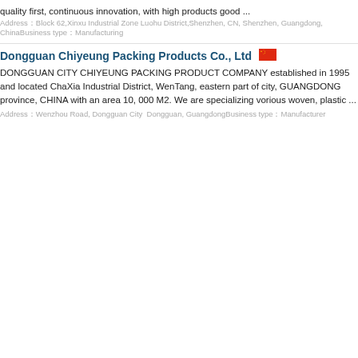quality first, continuous innovation, with high products good ...
Address：Block 62,Xinxu Industrial Zone Luohu District,Shenzhen, CN, Shenzhen, Guangdong, ChinaBusiness type：Manufacturing
Dongguan Chiyeung Packing Products Co., Ltd
DONGGUAN CITY CHIYEUNG PACKING PRODUCT COMPANY established in 1995 and located ChaXia Industrial District, WenTang, eastern part of city, GUANGDONG province, CHINA with an area 10, 000 M2. We are specializing vorious woven, plastic ...
Address：Wenzhou Road, Dongguan City  Dongguan, GuangdongBusiness type：Manufacturer